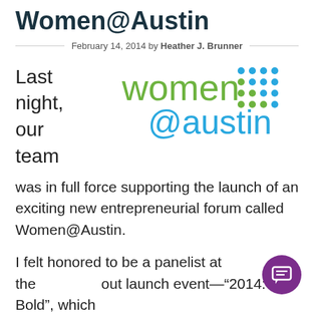Women@Austin
February 14, 2014 by Heather J. Brunner
[Figure (logo): Women@Austin logo with green 'women' text and blue '@austin' text, accompanied by a grid of blue and green dots on the right.]
Last night, our team was in full force supporting the launch of an exciting new entrepreneurial forum called Women@Austin.
I felt honored to be a panelist at the out launch event—“2014: Be Bold”, which